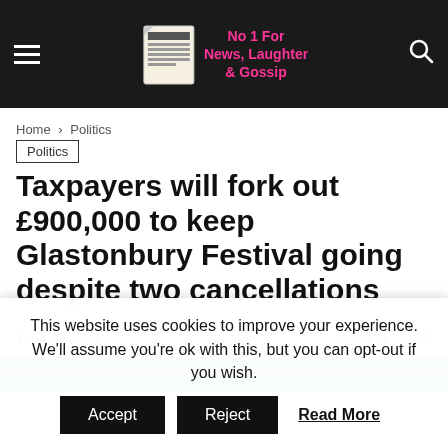Not Of A Blog — No 1 For News, Laughter & Gossip
Home › Politics
Politics
Taxpayers will fork out £900,000 to keep Glastonbury Festival going despite two cancellations
1st April 2021   👁 171  💬 0
[Figure (photo): Partial image of Glastonbury festival scene, blue sky visible]
This website uses cookies to improve your experience. We'll assume you're ok with this, but you can opt-out if you wish.
Accept   Reject   Read More